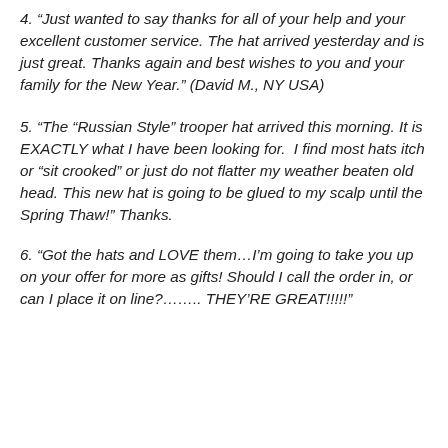4. “Just wanted to say thanks for all of your help and your excellent customer service. The hat arrived yesterday and is just great. Thanks again and best wishes to you and your family for the New Year.” (David M., NY USA)
5. “The “Russian Style” trooper hat arrived this morning. It is EXACTLY what I have been looking for.  I find most hats itch or “sit crooked” or just do not flatter my weather beaten old head. This new hat is going to be glued to my scalp until the Spring Thaw!” Thanks.
6. “Got the hats and LOVE them…I’m going to take you up on your offer for more as gifts! Should I call the order in, or can I place it on line?…….. THEY’RE GREAT!!!!!”